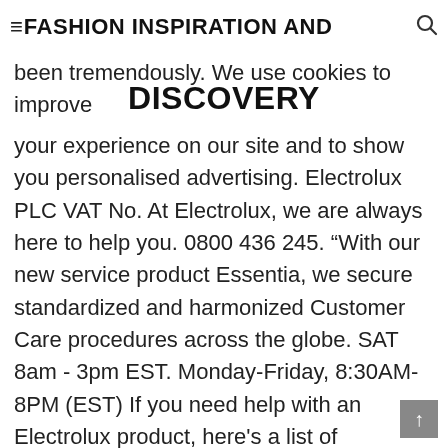≡FASHION INSPIRATION AND DISCOVERY
been tremendously. We use cookies to improve your experience on our site and to show you personalised advertising. Electrolux PLC VAT No. At Electrolux, we are always here to help you. 0800 436 245. “With our new service product Essentia, we secure standardized and harmonized Customer Care procedures across the globe. SAT 8am - 3pm EST. Monday-Friday, 8:30AM-8PM (EST) If you need help with an Electrolux product, here's a list of resources on our site that can help: Find a store. “With our new service product Essentia, we secure